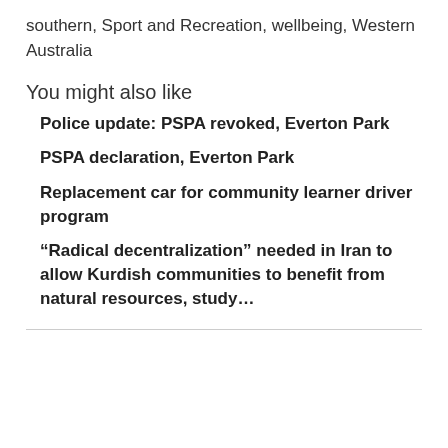southern, Sport and Recreation, wellbeing, Western Australia
You might also like
Police update: PSPA revoked, Everton Park
PSPA declaration, Everton Park
Replacement car for community learner driver program
“Radical decentralization” needed in Iran to allow Kurdish communities to benefit from natural resources, study…